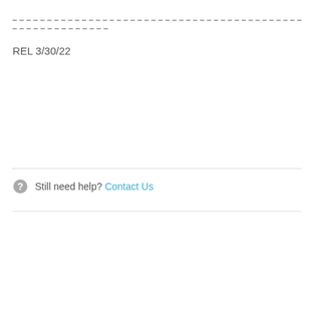REL 3/30/22
Still need help? Contact Us